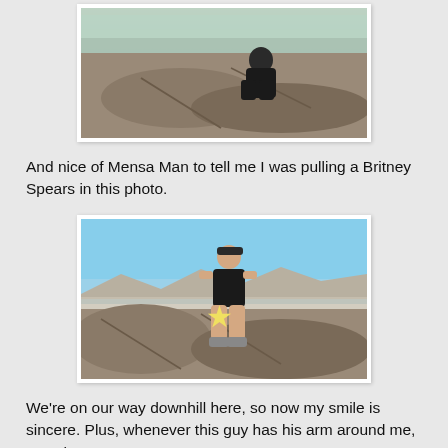[Figure (photo): Woman crouching on rocky hilltop with city view in background, partial view cropped at top]
And nice of Mensa Man to tell me I was pulling a Britney Spears in this photo.
[Figure (photo): Woman sitting on large rocks at hilltop with blue sky and city panorama in background; a star censor over midsection]
We're on our way downhill here, so now my smile is sincere. Plus, whenever this guy has his arm around me, I'm a happy